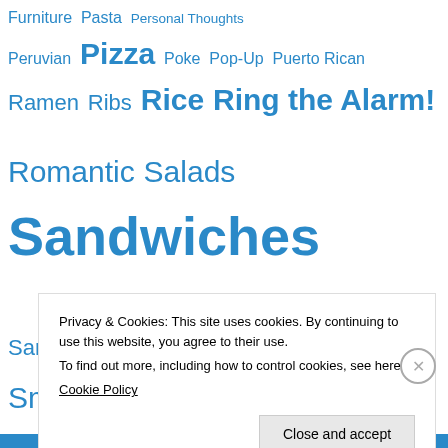Furniture Pasta Personal Thoughts Peruvian Pizza Poke Pop-Up Puerto Rican Ramen Ribs Rice Ring the Alarm! Romantic Salads Sandwiches Sanford Seafood Small Plates/Tapas Smoked Cured and Pickled Snacks Soul Food Soups and Stews Southern South Florida South Orlando Special Events
Privacy & Cookies: This site uses cookies. By continuing to use this website, you agree to their use. To find out more, including how to control cookies, see here: Cookie Policy
Close and accept